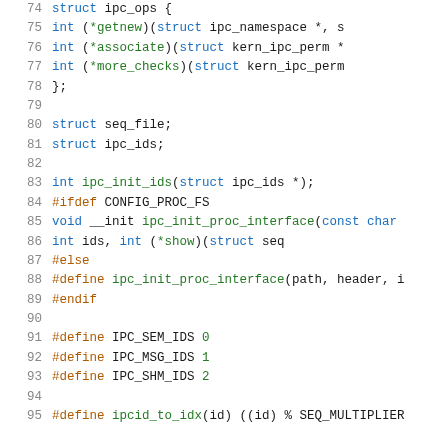[Figure (screenshot): Source code listing showing C header file code for Linux IPC kernel internals, lines 74-95, with syntax highlighting. Blue keywords, green function names/numbers, orange preprocessor directives, grey line numbers.]